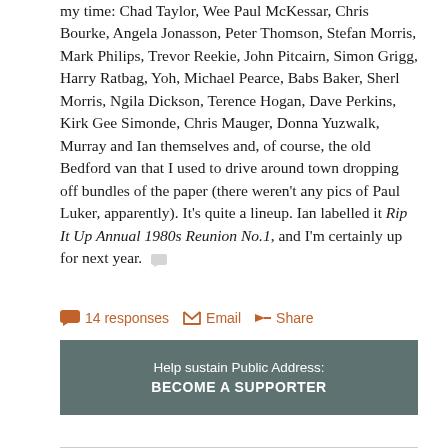my time: Chad Taylor, Wee Paul McKessar, Chris Bourke, Angela Jonasson, Peter Thomson, Stefan Morris, Mark Philips, Trevor Reekie, John Pitcairn, Simon Grigg, Harry Ratbag, Yoh, Michael Pearce, Babs Baker, Sherl Morris, Ngila Dickson, Terence Hogan, Dave Perkins, Kirk Gee Simonde, Chris Mauger, Donna Yuzwalk, Murray and Ian themselves and, of course, the old Bedford van that I used to drive around town dropping off bundles of the paper (there weren't any pics of Paul Luker, apparently). It's quite a lineup. Ian labelled it Rip It Up Annual 1980s Reunion No.1, and I'm certainly up for next year.
14 responses   Email   Share
Help sustain Public Address: BECOME A SUPPORTER